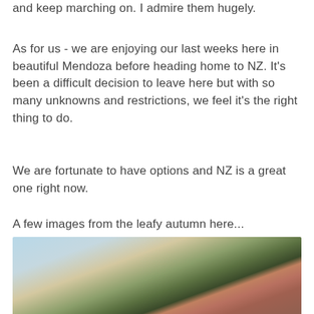and keep marching on. I admire them hugely.
As for us - we are enjoying our last weeks here in beautiful Mendoza before heading home to NZ. It's been a difficult decision to leave here but with so many unknowns and restrictions, we feel it's the right thing to do.
We are fortunate to have options and NZ is a great one right now.
A few images from the leafy autumn here...
[Figure (photo): Partial view of an autumn landscape photo, showing sky, hills with yellow-green foliage, dark treeline, and reddish-brown terrain at the bottom.]